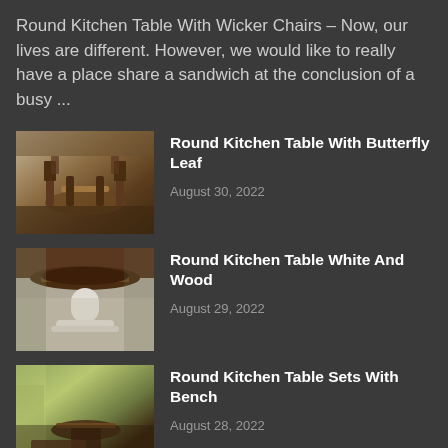Round Kitchen Table With Wicker Chairs – Now, our lives are different. However, we would like to really have a place share a sandwich at the conclusion of a busy ...
[Figure (photo): Photo of a round kitchen dining table with ladder-back chairs in a dark wood finish]
Round Kitchen Table With Butterfly Leaf
August 30, 2022
[Figure (photo): Photo of a white pedestal round kitchen table with dark wood top]
Round Kitchen Table White And Wood
August 29, 2022
[Figure (photo): Photo of a round kitchen table set with bench seating in a room with green walls]
Round Kitchen Table Sets With Bench
August 28, 2022
[Figure (photo): Partial photo of a round kitchen table, cut off at bottom of page]
Round Kitchen Table Oak